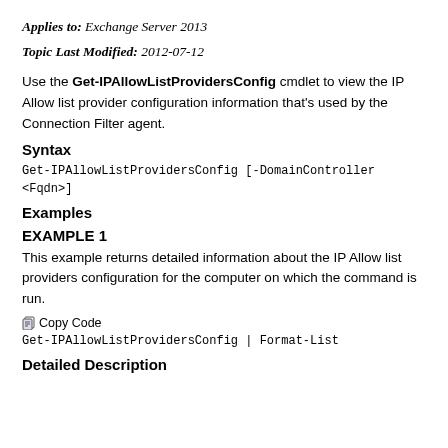Applies to: Exchange Server 2013
Topic Last Modified: 2012-07-12
Use the Get-IPAllowListProvidersConfig cmdlet to view the IP Allow list provider configuration information that's used by the Connection Filter agent.
Syntax
Examples
EXAMPLE 1
This example returns detailed information about the IP Allow list providers configuration for the computer on which the command is run.
Copy Code
Detailed Description